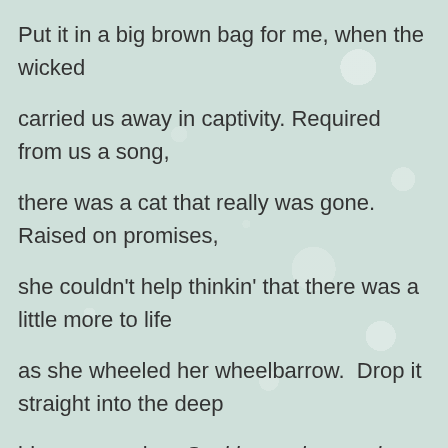Put it in a big brown bag for me, when the wicked carried us away in captivity. Required from us a song, there was a cat that really was gone. Raised on promises, she couldn't help thinkin' that there was a little more to life as she wheeled her wheelbarrow.  Drop it straight into the deep blue sea, crying, Cockles and mussels, alive, alive, oh.  I could hear the distant drums. Now how shall we sing the lord's song in a strange land? Just like honey from the bee.